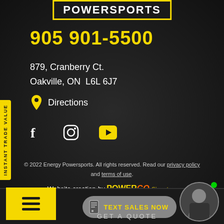POWERSPORTS
905 901-5500
879, Cranberry Ct.
Oakville, ON  L6L 6J7
Directions
[Figure (infographic): Social media icons: Facebook, Instagram, YouTube]
INSTANT TRADE VALUE
© 2022 Energy Powersports. All rights reserved. Read our privacy policy and terms of use.
Website creation by POWERGO Signature
TEXT SALES NOW
GET A QUOTE